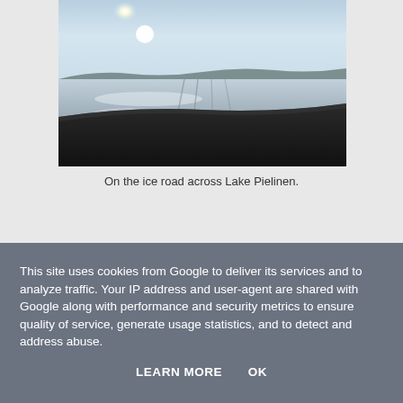[Figure (photo): A photo taken from inside a vehicle showing an ice road stretching across Lake Pielinen. The sun is bright and low in the sky, illuminating the flat, snowy ice surface with tire tracks visible. A dark car dashboard is visible in the foreground.]
On the ice road across Lake Pielinen.
This site uses cookies from Google to deliver its services and to analyze traffic. Your IP address and user-agent are shared with Google along with performance and security metrics to ensure quality of service, generate usage statistics, and to detect and address abuse.
LEARN MORE    OK